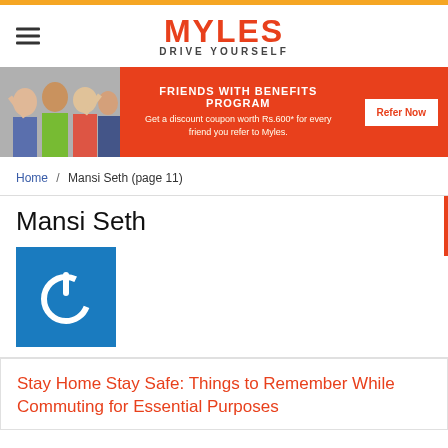[Figure (logo): Myles 'Drive Yourself' logo with hamburger menu icon]
[Figure (infographic): Friends with Benefits Program banner: orange background with people celebrating, text 'FRIENDS WITH BENEFITS PROGRAM Get a discount coupon worth Rs.600* for every friend you refer to Myles.' and 'Refer Now' button]
Home / Mansi Seth (page 11)
Mansi Seth
[Figure (illustration): Blue square avatar with white power button icon]
Stay Home Stay Safe: Things to Remember While Commuting for Essential Purposes